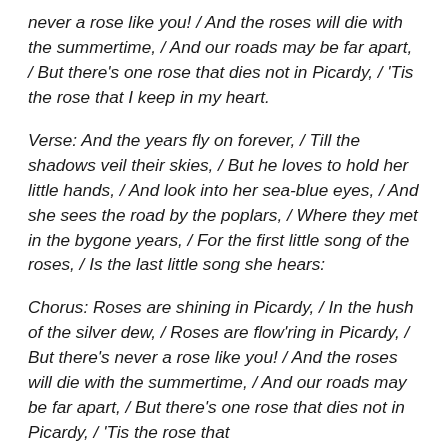never a rose like you! / And the roses will die with the summertime, / And our roads may be far apart, / But there's one rose that dies not in Picardy, / 'Tis the rose that I keep in my heart.
Verse: And the years fly on forever, / Till the shadows veil their skies, / But he loves to hold her little hands, / And look into her sea-blue eyes, / And she sees the road by the poplars, / Where they met in the bygone years, / For the first little song of the roses, / Is the last little song she hears:
Chorus: Roses are shining in Picardy, / In the hush of the silver dew, / Roses are flow'ring in Picardy, / But there's never a rose like you! / And the roses will die with the summertime, / And our roads may be far apart, / But there's one rose that dies not in Picardy, / 'Tis the rose that